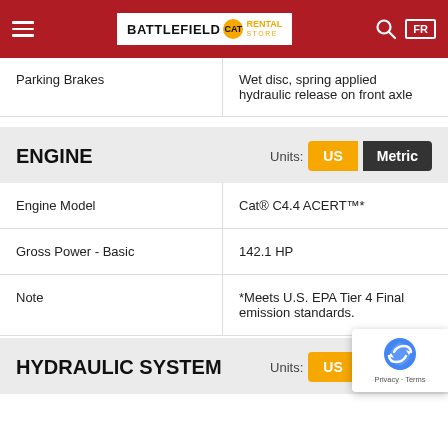Battlefield CAT Rental Store
Parking Brakes	Wet disc, spring applied hydraulic release on front axle
ENGINE
|  |  |
| --- | --- |
| Engine Model | Cat® C4.4 ACERT™* |
| Gross Power - Basic | 142.1 HP |
| Note | *Meets U.S. EPA Tier 4 Final emission standards. |
HYDRAULIC SYSTEM